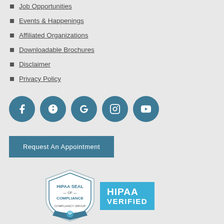Job Opportunities
Events & Happenings
Affiliated Organizations
Downloadable Brochures
Disclaimer
Privacy Policy
[Figure (infographic): Row of five circular social media icon buttons (Facebook, Yelp, Google, Instagram, YouTube) in teal/steel blue color]
[Figure (other): Request An Appointment button in teal blue]
[Figure (logo): HIPAA Seal of Compliance badge from Compliancy Group alongside a HIPAA VERIFIED banner in blue]